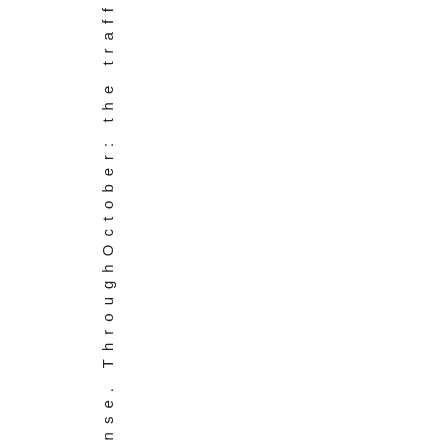sense. ThroughOctober: the traff